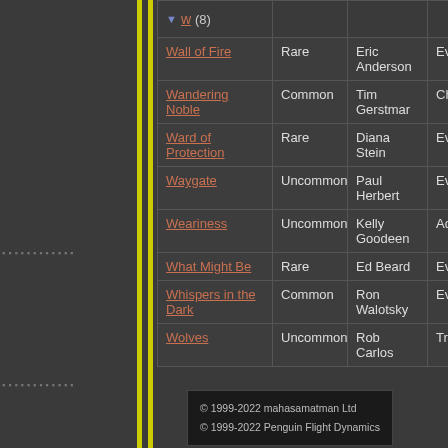[Figure (illustration): Vertical sidebar with 'eye of the world' text rotated 90 degrees, blue/purple color, with yellow vertical lines]
| w (8) | Rarity | Artist | Type |  |
| --- | --- | --- | --- | --- |
| Wall of Fire | Rare | Eric Anderson | Event |  |
| Wandering Noble | Common | Tim Gerstmar | Character | M |
| Ward of Protection | Rare | Diana Stein | Event |  |
| Waygate | Uncommon | Paul Herbert | Event |  |
| Weariness | Uncommon | Kelly Goodeen | Advantage | Ch |
| What Might Be | Rare | Ed Beard | Event |  |
| Whispers in the Dark | Common | Ron Walotsky | Event |  |
| Wolves | Uncommon | Rob Carlos | Troop | M |
© 1999-2022 mahasamatman Ltd
© 1999-2022 Penguin Flight Dynamics